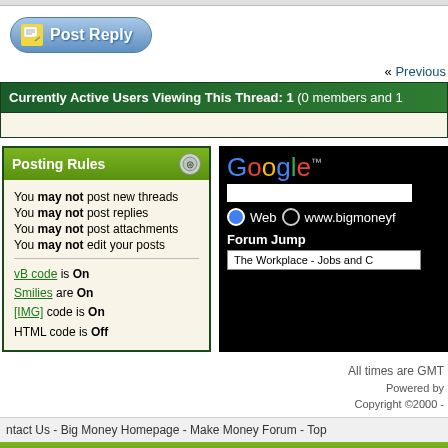[Figure (screenshot): Post Reply button with pencil icon]
« Previous
Currently Active Users Viewing This Thread: 1 (0 members and 1
Posting Rules
You may not post new threads
You may not post replies
You may not post attachments
You may not edit your posts
vB code is On
Smilies are On
[IMG] code is On
HTML code is Off
[Figure (screenshot): Google search box with Web and www.bigmoneyf radio options and Forum Jump dropdown]
All times are GMT
Powered by
Copyright ©2000 -
ntact Us - Big Money Homepage - Make Money Forum - Top
Copyright 2007 - 2022 Big Money Forums. All rights reserved.